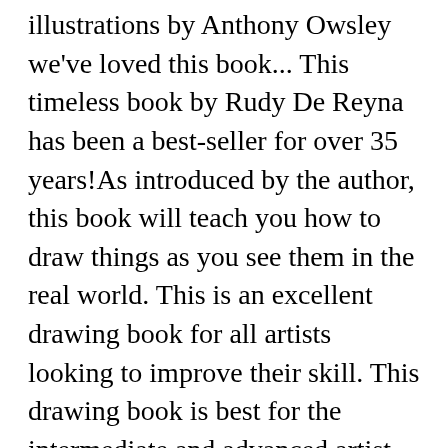illustrations by Anthony Owsley we've loved this book... This timeless book by Rudy De Reyna has been a best-seller for over 35 years!As introduced by the author, this book will teach you how to draw things as you see them in the real world. This is an excellent drawing book for all artists looking to improve their skill. This drawing book is best for the intermediate and advanced artist. How to Draw What You See is one of the best books on drawing that will help you recognize the basic shape of objects and forms in nature and everywhere.Inside you'll find: With Emmy award-winning, longtime PBS host Mark Kistler as your guide, you'll learn the secrets of sophisticated three-dimensional renderings,